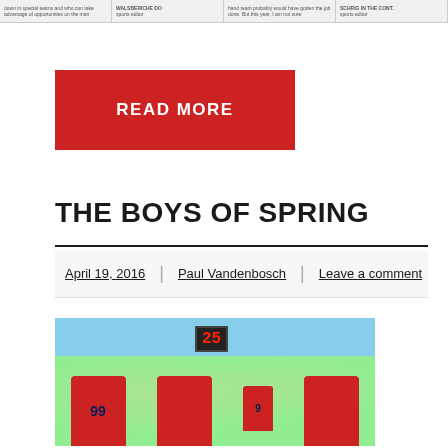[Figure (screenshot): Top strip showing newspaper article previews with small text columns]
[Figure (other): Red READ MORE button]
THE BOYS OF SPRING
April 19, 2016 | Paul Vandenbosch | Leave a comment
[Figure (photo): Football players in red jerseys hoisting a young child wearing jersey number 9, outdoors with a scoreboard showing 25 in background]